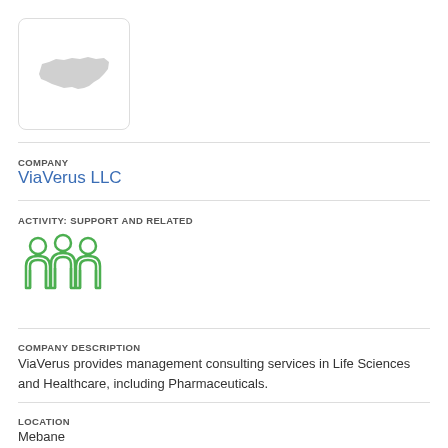[Figure (logo): Company logo placeholder with a light gray North Carolina state shape silhouette inside a rounded rectangle border]
COMPANY
ViaVerus LLC
ACTIVITY: SUPPORT AND RELATED
[Figure (illustration): Green icon showing three human figures side by side representing a team or group]
COMPANY DESCRIPTION
ViaVerus provides management consulting services in Life Sciences and Healthcare, including Pharmaceuticals.
LOCATION
Mebane